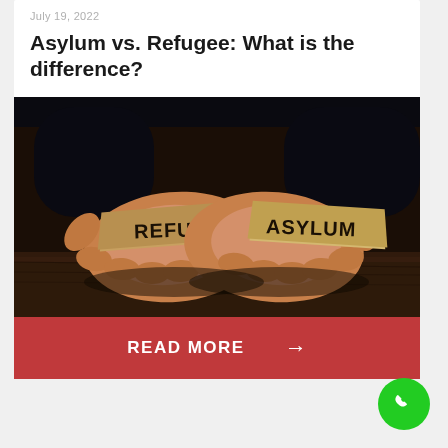July 19, 2022
Asylum vs. Refugee: What is the difference?
[Figure (photo): Two hands holding cardboard signs reading 'REFUGEE' and 'ASYLUM' against a dark wooden background]
READ MORE →